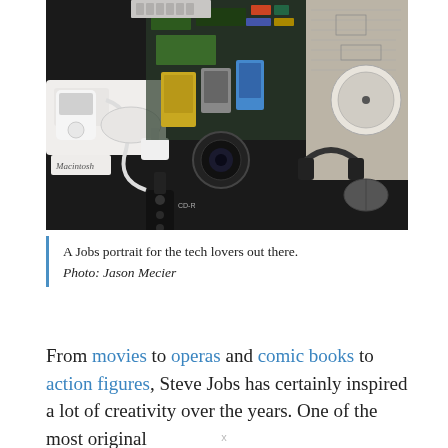[Figure (photo): A mosaic portrait of Steve Jobs made from Apple products and tech gadgets — iMac parts, cables, circuit boards, keyboards, CD-ROMs, cameras, remote controls, headphones, and other electronics arranged to form his face and upper body.]
A Jobs portrait for the tech lovers out there. Photo: Jason Mecier
From movies to operas and comic books to action figures, Steve Jobs has certainly inspired a lot of creativity over the years. One of the most original